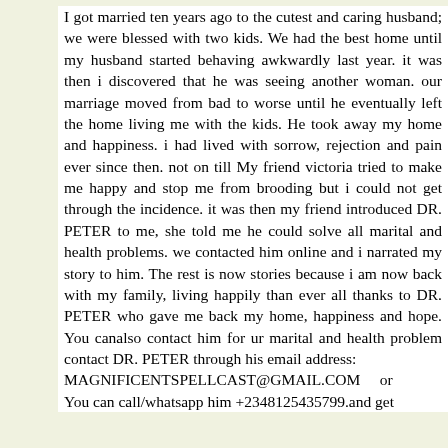I got married ten years ago to the cutest and caring husband; we were blessed with two kids. We had the best home until my husband started behaving awkwardly last year. it was then i discovered that he was seeing another woman. our marriage moved from bad to worse until he eventually left the home living me with the kids. He took away my home and happiness. i had lived with sorrow, rejection and pain ever since then. not on till My friend victoria tried to make me happy and stop me from brooding but i could not get through the incidence. it was then my friend introduced DR. PETER to me, she told me he could solve all marital and health problems. we contacted him online and i narrated my story to him. The rest is now stories because i am now back with my family, living happily than ever all thanks to DR. PETER who gave me back my home, happiness and hope. You canalso contact him for ur marital and health problem contact DR. PETER through his email address:
MAGNIFICENTSPELLCAST@GMAIL.COM     or
You can call/whatsapp him +2348125435799.and get